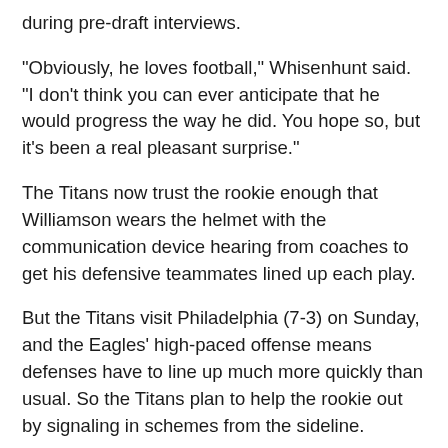during pre-draft interviews.
"Obviously, he loves football," Whisenhunt said. "I don't think you can ever anticipate that he would progress the way he did. You hope so, but it's been a real pleasant surprise."
The Titans now trust the rookie enough that Williamson wears the helmet with the communication device hearing from coaches to get his defensive teammates lined up each play.
But the Titans visit Philadelphia (7-3) on Sunday, and the Eagles' high-paced offense means defenses have to line up much more quickly than usual. So the Titans plan to help the rookie out by signaling in schemes from the sideline.
"We're not putting it all on him," Titans defensive coordinator Ray Horton said. "We'll make a couple adjustments how we call the game so everybody will be responsible, not just him."
That's fine with Williamson who just wants to help the team